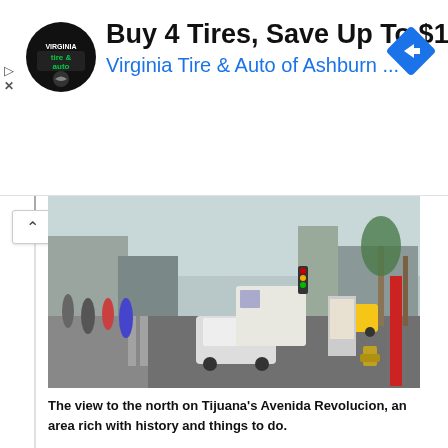[Figure (screenshot): Advertisement banner: Virginia Tire & Auto logo (circular black badge with 'tire & auto' text), headline 'Buy 4 Tires, Save Up To $110', subtitle 'Virginia Tire & Auto of Ashburn ...', navigation arrow icon on right, play and close (X) controls on left edge.]
[Figure (photo): Street-level view looking north on Tijuana's Avenida Revolucion. Busy urban intersection with pedestrians crossing, a white police car, a bus, palm trees, storefronts, a red fire hydrant on the sidewalk, and a red pillar/post on the right.]
The view to the north on Tijuana's Avenida Revolucion, an area rich with history and things to do.
[Figure (photo): Exterior view of a modern tan/sandstone-colored building, likely a museum or cultural center in Tijuana. Mexican flags on flagpoles in center. Orange building visible in background right. People visible in foreground.]